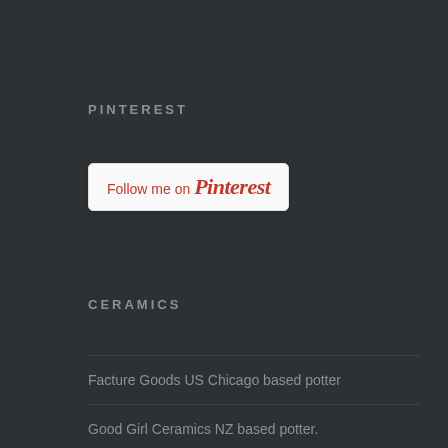PINTEREST
[Figure (other): Follow me on Pinterest button with Pinterest logo in red cursive script on a white rounded rectangle button]
CERAMICS
Facture Goods US Chicago based potter
Good Girl Ceramics NZ based potter.
Rachel Carter Ceramics NZ based potter